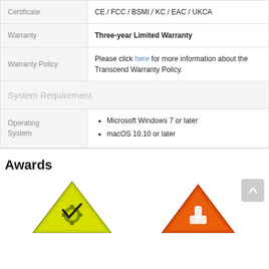|  |  |
| --- | --- |
| Certificate | CE / FCC / BSMI / KC / EAC / UKCA |
| Warranty | Three-year Limited Warranty |
| Warranty Policy | Please click here for more information about the Transcend Warranty Policy. |
| System Requirement |  |
| Operating System | • Microsoft Windows 7 or later
• macOS 10.10 or later |
Awards
[Figure (illustration): Two award badge illustrations partially visible at bottom of page - left is yellow/green triangle caution-style award badge, right is orange/red triangle thumbs-up award badge]